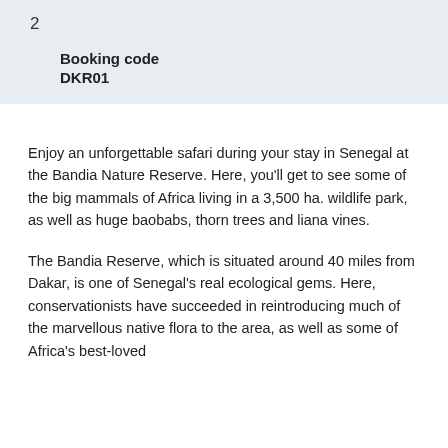2
Booking code
DKR01
Enjoy an unforgettable safari during your stay in Senegal at the Bandia Nature Reserve. Here, you’ll get to see some of the big mammals of Africa living in a 3,500 ha. wildlife park, as well as huge baobabs, thorn trees and liana vines.
The Bandia Reserve, which is situated around 40 miles from Dakar, is one of Senegal’s real ecological gems. Here, conservationists have succeeded in reintroducing much of the marvellous native flora to the area, as well as some of Africa’s best-loved